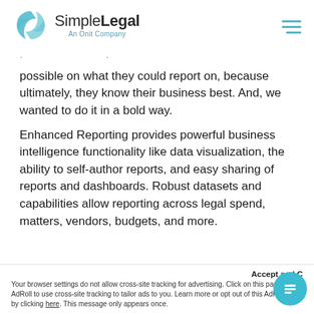SimpleLegal An Onit Company
possible on what they could report on, because ultimately, they know their business best. And, we wanted to do it in a bold way.
Enhanced Reporting provides powerful business intelligence functionality like data visualization, the ability to self-author reports, and easy sharing of reports and dashboards. Robust datasets and capabilities allow reporting across legal spend, matters, vendors, budgets, and more.
Accept and C... Your browser settings do not allow cross-site tracking for advertising. Click on this page... AdRoll to use cross-site tracking to tailor ads to you. Learn more or opt out of this AdRoll t... by clicking here. This message only appears once.